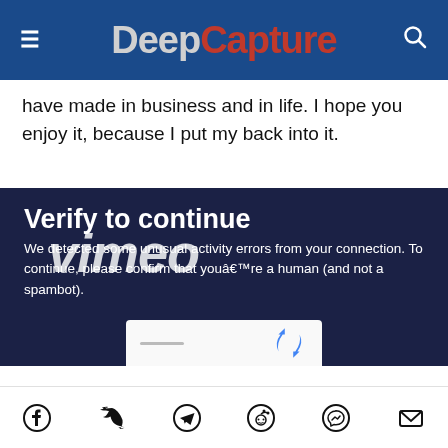DeepCapture
have made in business and in life. I hope you enjoy it, because I put my back into it.
[Figure (screenshot): Vimeo embedded player showing a 'Verify to continue' human verification overlay with reCAPTCHA, on a dark navy background with the Vimeo logo watermark. Text reads: 'Verify to continue. We detected some unusual activity from your connection. To continue, please confirm that youâ€™re a human (and not a spambot).']
Social share icons: Facebook, Twitter, Telegram, Reddit, Messenger, Email